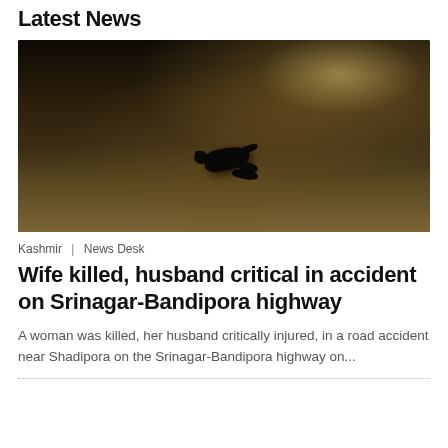Latest News
[Figure (photo): Nighttime road photo showing a person lying on the dark road surface with a vehicle headlight visible in the upper right background.]
Kashmir | News Desk
Wife killed, husband critical in accident on Srinagar-Bandipora highway
A woman was killed, her husband critically injured, in a road accident near Shadipora on the Srinagar-Bandipora highway on...